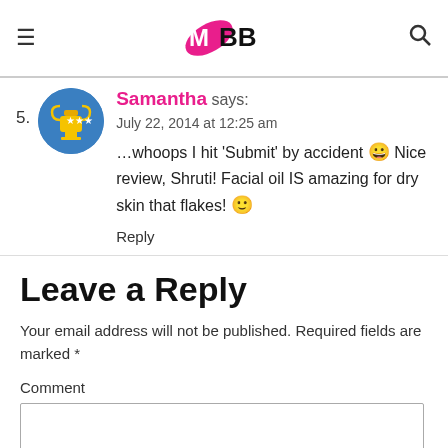IMBB logo with hamburger menu and search icon
5. Samantha says:
July 22, 2014 at 12:25 am
…whoops I hit 'Submit' by accident 😀 Nice review, Shruti! Facial oil IS amazing for dry skin that flakes! 🙂
Reply
Leave a Reply
Your email address will not be published. Required fields are marked *
Comment